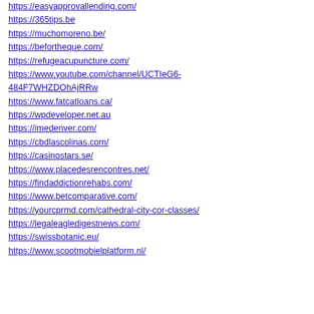https://easyapprovallending.com/
https://365tips.be
https://muchomoreno.be/
https://befortheque.com/
https://refugeacupuncture.com/
https://www.youtube.com/channel/UCTIeG6-484F7WHZDOhAjRRw
https://www.fatcatloans.ca/
https://wpdeveloper.net.au
https://imedenver.com/
https://cbdlascolinas.com/
https://casinostars.se/
https://www.placedesrencontres.net/
https://findaddictionrehabs.com/
https://www.betcomparative.com/
https://yourcprmd.com/cathedral-city-cor-classes/
https://legaleagledigestnews.com/
https://swissbotanic.eu/
https://www.scootmobielplatform.nl/